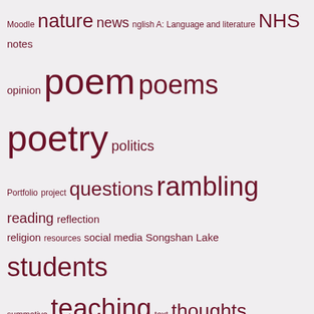[Figure (other): Tag cloud with terms related to education, travel, poetry, and personal topics. Terms vary in font size to indicate frequency/importance. All terms are in dark maroon color on a light grey-pink background.]